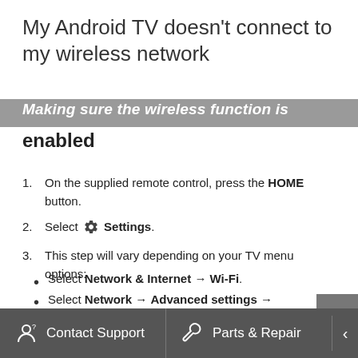My Android TV doesn't connect to my wireless network
Making sure the wireless function is enabled
1. On the supplied remote control, press the HOME button.
2. Select [gear] Settings.
3. This step will vary depending on your TV menu options:
Select Network & Internet → Wi-Fi.
Select Network → Advanced settings → Built-in Wi-Fi.
4. Set to On.
5. Run the network setup for Wi-Fi connection.
Contact Support   Parts & Repair